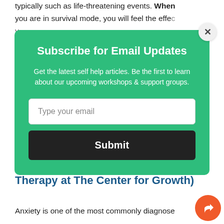typically such as life-threatening events. When you are in survival mode, you will feel the effects of adrenaline...
[Figure (screenshot): Email subscription modal popup with green background. Title: 'Subscribe for Email Updates'. Description: 'Get the latest self help articles. Be the first to learn about our upcoming workshops & support groups.' Email input field with placeholder 'Type your email'. Dark submit button labeled 'Submit'. Close button (×) in top-right corner.]
anxiety response more often than intended.
When Anxiety Goes Awry (Anxiety Therapy at The Center for Growth)
Anxiety is one of the most commonly diagnose...